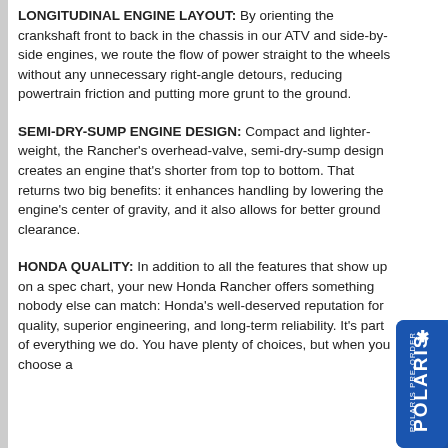LONGITUDINAL ENGINE LAYOUT: By orienting the crankshaft front to back in the chassis in our ATV and side-by-side engines, we route the flow of power straight to the wheels without any unnecessary right-angle detours, reducing powertrain friction and putting more grunt to the ground.
SEMI-DRY-SUMP ENGINE DESIGN: Compact and lighter-weight, the Rancher's overhead-valve, semi-dry-sump design creates an engine that's shorter from top to bottom. That returns two big benefits: it enhances handling by lowering the engine's center of gravity, and it also allows for better ground clearance.
HONDA QUALITY: In addition to all the features that show up on a spec chart, your new Honda Rancher offers something nobody else can match: Honda's well-deserved reputation for quality, superior engineering, and long-term reliability. It's part of everything we do. You have plenty of choices, but when you choose a
[Figure (logo): Polaris Pre-Order vertical badge on right side, blue background with white text reading POLARIS PRE-ORDER and a star logo]